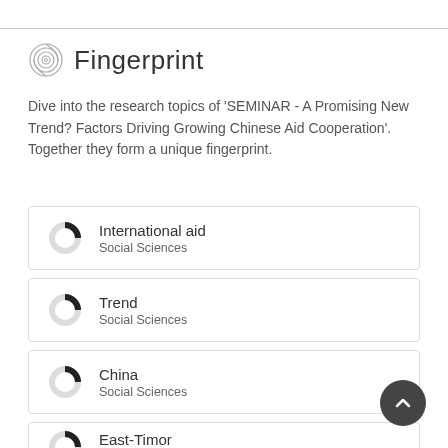Fingerprint
Dive into the research topics of 'SEMINAR - A Promising New Trend? Factors Driving Growing Chinese Aid Cooperation'. Together they form a unique fingerprint.
International aid
Social Sciences
Trend
Social Sciences
China
Social Sciences
East-Timor
Social Sciences